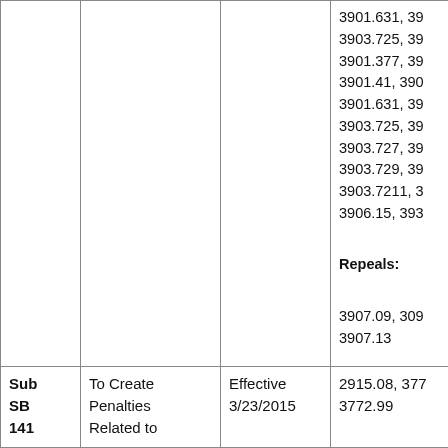|  |  |  |  |
| --- | --- | --- | --- |
|  |  |  | 3901.631, 39
3903.725, 39
3901.377, 39
3901.41, 390
3901.631, 39
3903.725, 39
3903.727, 39
3903.729, 39
3903.7211, 3
3906.15, 393

Repeals:

3907.09, 309
3907.13 |
| Sub SB 141 | To Create Penalties Related to | Effective 3/23/2015 | 2915.08, 377
3772.99 |